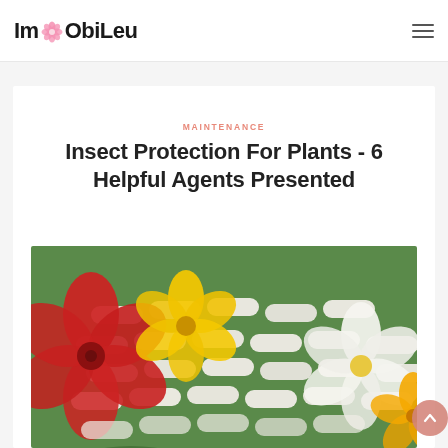ImObiLeu
MAINTENANCE
Insect Protection For Plants - 6 Helpful Agents Presented
[Figure (photo): Photo of colorful flowers (red, yellow, white) with supplement capsules/pills arranged among them on a green background]